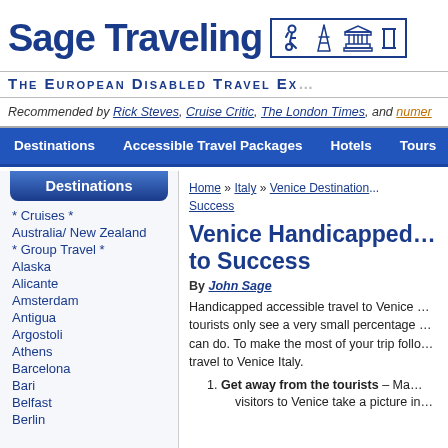Sage Traveling — The European Disabled Travel Expert
Recommended by Rick Steves, Cruise Critic, The London Times, and numer...
Destinations | Accessible Travel Packages | Hotels | Tours | Sag...
Destinations
* Cruises *
Australia/ New Zealand
* Group Travel *
Alaska
Alicante
Amsterdam
Antigua
Argostoli
Athens
Barcelona
Bari
Belfast
Berlin
Home » Italy » Venice Destination... Success
Venice Handicapped... to Success
By John Sage
Handicapped accessible travel to Venice... tourists only see a very small percentage... can do. To make the most of your trip follo... travel to Venice Italy.
1. Get away from the tourists – Ma... visitors to Venice take a picture in...